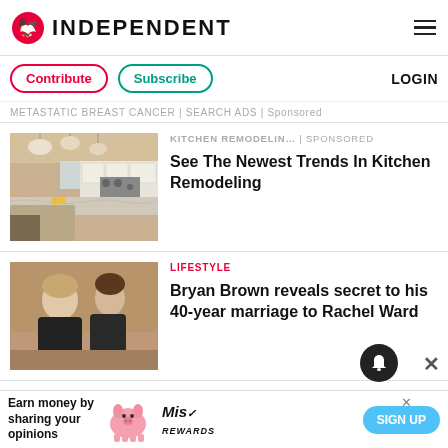INDEPENDENT
Contribute | Subscribe | LOGIN
METASTATIC BREAST CANCER | SEARCH ADS | Sponsored
[Figure (photo): Kitchen remodeling photo showing modern kitchen with marble countertops and pendant lights]
KITCHEN REMODELIN... | Sponsored
See The Newest Trends In Kitchen Remodeling
[Figure (photo): Photo of Bryan Brown and Rachel Ward]
LIFESTYLE
Bryan Brown reveals secret to his 40-year marriage to Rachel Ward
Earn money by sharing your opinions | SIGN UP